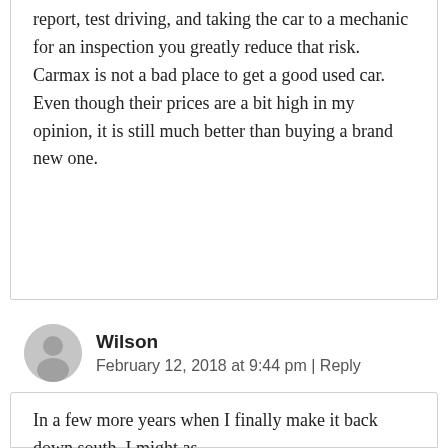report, test driving, and taking the car to a mechanic for an inspection you greatly reduce that risk. Carmax is not a bad place to get a good used car. Even though their prices are a bit high in my opinion, it is still much better than buying a brand new one.
Wilson
February 12, 2018 at 9:44 pm | Reply
In a few more years when I finally make it back down south, I might as